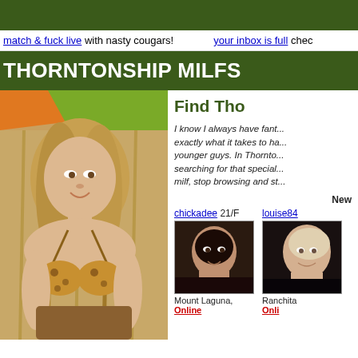match & fuck live with nasty cougars!   your inbox is full chec
THORNTONSHIP MILFS
[Figure (photo): Blonde woman in leopard print bikini top posing in front of bamboo/wood background with orange and green fabric]
Find Tho
I know I always have fant... exactly what it takes to ha... younger guys. In Thornto... searching for that special... milf, stop browsing and st...
New
chickadee 21/F
[Figure (photo): Profile photo of dark-haired woman]
Mount Laguna,
Online
louise84
[Figure (photo): Profile photo of blonde woman]
Ranchita
Onli